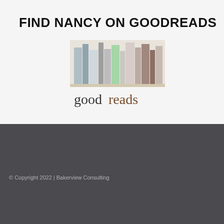FIND NANCY ON GOODREADS
[Figure (logo): Goodreads logo: books on a shelf above the word 'goodreads' in mixed black and brown lettering]
© Copyright 2022 | Bakerview Consulting